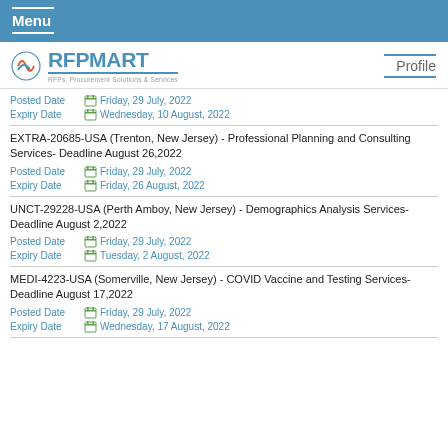Menu
[Figure (logo): RFPMART logo with tagline 'RFPs, Procurement Solutions & Services']
Profile
Posted Date  Friday, 29 July, 2022
Expiry Date  Wednesday, 10 August, 2022
EXTRA-20685-USA (Trenton, New Jersey) - Professional Planning and Consulting Services- Deadline August 26,2022
Posted Date  Friday, 29 July, 2022
Expiry Date  Friday, 26 August, 2022
UNCT-29228-USA (Perth Amboy, New Jersey) - Demographics Analysis Services- Deadline August 2,2022
Posted Date  Friday, 29 July, 2022
Expiry Date  Tuesday, 2 August, 2022
MEDI-4223-USA (Somerville, New Jersey) - COVID Vaccine and Testing Services- Deadline August 17,2022
Posted Date  Friday, 29 July, 2022
Expiry Date  Wednesday, 17 August, 2022